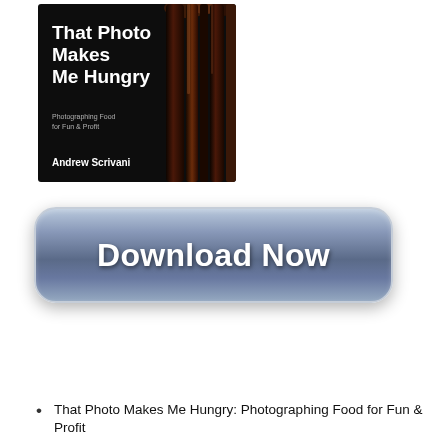[Figure (illustration): Book cover for 'That Photo Makes Me Hungry: Photographing Food for Fun & Profit' by Andrew Scrivani. Dark/black background with chocolate drizzle streaks on the right side. White bold title text on left, grey subtitle text, white author name at bottom.]
[Figure (illustration): A large rounded-rectangle Download Now button with a blue-grey gradient background and white bold text reading 'Download Now'.]
That Photo Makes Me Hungry: Photographing Food for Fun & Profit